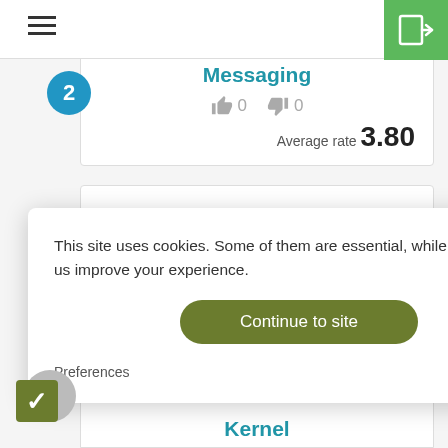Navigation menu and login button
Messaging
0 likes  0 dislikes  Average rate 3.80
This site uses cookies. Some of them are essential, while others help us improve your experience.
Continue to site
Preferences
clym
Kernel